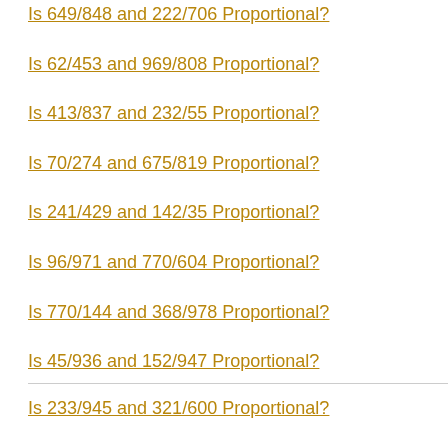Is 649/848 and 222/706 Proportional?
Is 62/453 and 969/808 Proportional?
Is 413/837 and 232/55 Proportional?
Is 70/274 and 675/819 Proportional?
Is 241/429 and 142/35 Proportional?
Is 96/971 and 770/604 Proportional?
Is 770/144 and 368/978 Proportional?
Is 45/936 and 152/947 Proportional?
Is 233/945 and 321/600 Proportional?